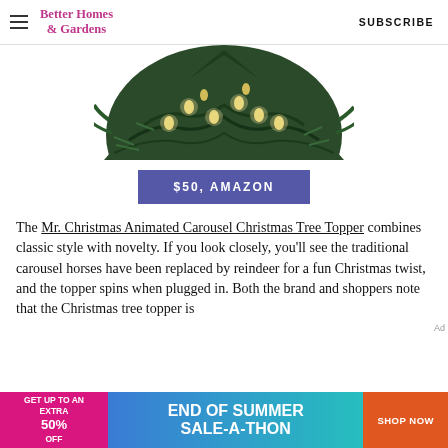Better Homes & Gardens   SUBSCRIBE
[Figure (photo): Top portion of a Christmas tree with green branches and warm white lights visible, cropped at the top of the frame.]
$50, AMAZON
The Mr. Christmas Animated Carousel Christmas Tree Topper combines classic style with novelty. If you look closely, you'll see the traditional carousel horses have been replaced by reindeer for a fun Christmas twist, and the topper spins when plugged in. Both the brand and shoppers note that the Christmas tree topper is
[Figure (infographic): Advertisement banner: GET UP TO AN EXTRA 50% OFF END OF SUMMER SALE-A-THON SHOP NOW]